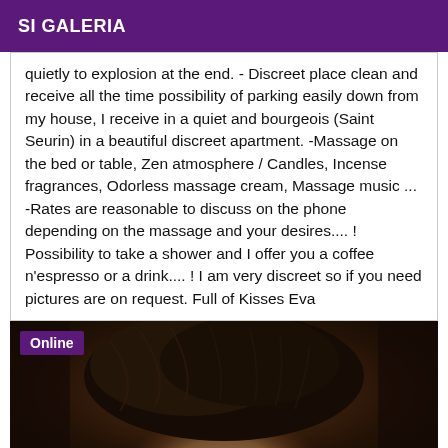SI GALERIA
quietly to explosion at the end. - Discreet place clean and receive all the time possibility of parking easily down from my house, I receive in a quiet and bourgeois (Saint Seurin) in a beautiful discreet apartment. -Massage on the bed or table, Zen atmosphere / Candles, Incense fragrances, Odorless massage cream, Massage music ... -Rates are reasonable to discuss on the phone depending on the massage and your desires.... ! Possibility to take a shower and I offer you a coffee n'espresso or a drink.... ! I am very discreet so if you need pictures are on request. Full of Kisses Eva
[Figure (photo): Close-up photo of a person with dark curly hair, with an 'Online' badge overlay in purple at the top left]